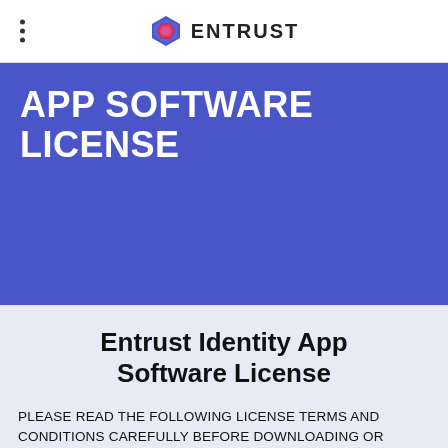ENTRUST
APP SOFTWARE LICENSE
Entrust Identity App Software License
PLEASE READ THE FOLLOWING LICENSE TERMS AND CONDITIONS CAREFULLY BEFORE DOWNLOADING OR USING THE SOFTWARE. THESE TERMS AND CONDITIONS CONSTITUTE A LEGAL AGREEMENT BETWEEN YOU AND